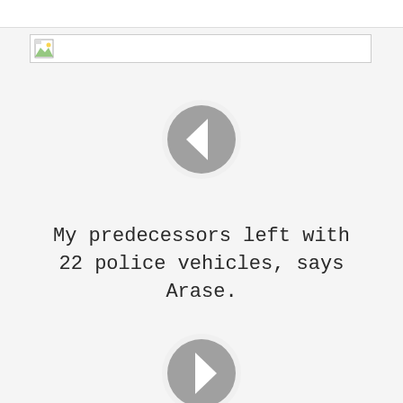[Figure (other): Broken image placeholder bar with small landscape icon on left, white background with grey border]
[Figure (other): Grey circular previous navigation button with left-pointing chevron (< arrow)]
My predecessors left with 22 police vehicles, says Arase.
[Figure (other): Grey circular next navigation button with right-pointing chevron (> arrow)]